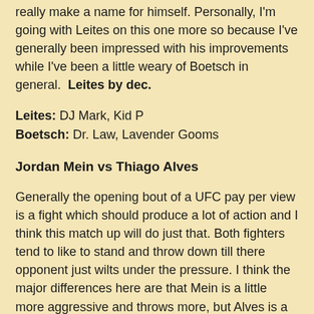really make a name for himself. Personally, I'm going with Leites on this one more so because I've generally been impressed with his improvements while I've been a little weary of Boetsch in general.  Leites by dec.
Leites: DJ Mark, Kid P
Boetsch: Dr. Law, Lavender Gooms
Jordan Mein vs Thiago Alves
Generally the opening bout of a UFC pay per view is a fight which should produce a lot of action and I think this match up will do just that. Both fighters tend to like to stand and throw down till there opponent just wilts under the pressure. I think the major differences here are that Mein is a little more aggressive and throws more, but Alves is a little more technical and has the power advantage between the two. I think Alves is going to be able to find some holes in Mein's stand up game and exploit them to a KO finish. Alves KO 1st round.
Alves: Dr. Law, Lavender Gooms, DJ Mark